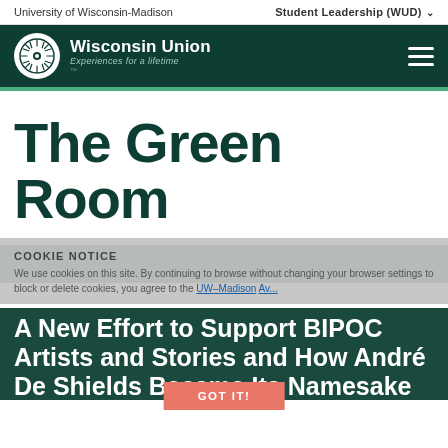University of Wisconsin-Madison
Student Leadership (WUD)
[Figure (logo): Wisconsin Union logo with sunburst emblem and text 'Wisconsin Union — Experiences for a lifetime' on dark green background]
The Green Room
COOKIE NOTICE
We use cookies on this site. By continuing to browse without changing your browser settings to block or delete cookies, you agree to the UW–Madison privacy notice.
A New Effort to Support BIPOC Artists and Stories and How André De Shields Became Its Namesake
GOT IT!